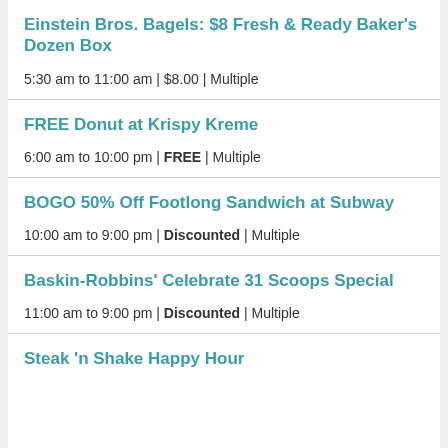Einstein Bros. Bagels: $8 Fresh & Ready Baker's Dozen Box
5:30 am to 11:00 am | $8.00 | Multiple
FREE Donut at Krispy Kreme
6:00 am to 10:00 pm | FREE | Multiple
BOGO 50% Off Footlong Sandwich at Subway
10:00 am to 9:00 pm | Discounted | Multiple
Baskin-Robbins' Celebrate 31 Scoops Special
11:00 am to 9:00 pm | Discounted | Multiple
Steak 'n Shake Happy Hour